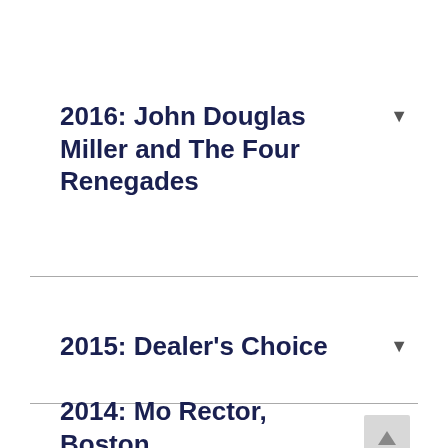2016: John Douglas Miller and The Four Renegades
2015: Dealer's Choice
2014: Mo Rector, Boston